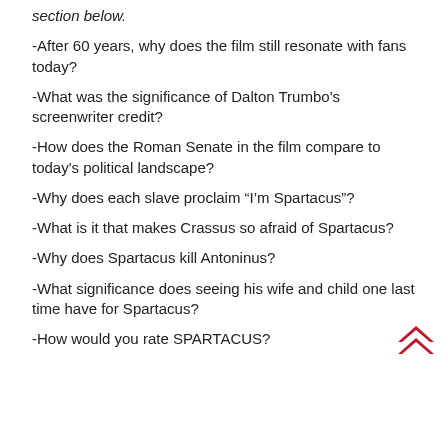section below.
-After 60 years, why does the film still resonate with fans today?
-What was the significance of Dalton Trumbo's screenwriter credit?
-How does the Roman Senate in the film compare to today's political landscape?
-Why does each slave proclaim “I’m Spartacus”?
-What is it that makes Crassus so afraid of Spartacus?
-Why does Spartacus kill Antoninus?
-What significance does seeing his wife and child one last time have for Spartacus?
-How would you rate SPARTACUS?